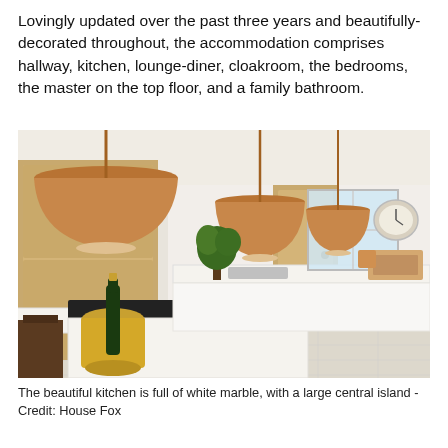Lovingly updated over the past three years and beautifully-decorated throughout, the accommodation comprises hallway, kitchen, lounge-diner, cloakroom, the bedrooms, the master on the top floor, and a family bathroom.
[Figure (photo): Interior kitchen photo showing copper pendant lights hanging from ceiling, white marble countertops, a central island with a dark hob, wooden cabinets and doors, a champagne bottle in an ice bucket on the island, a potted plant, a wall clock, and kitchen appliances near a window.]
The beautiful kitchen is full of white marble, with a large central island - Credit: House Fox